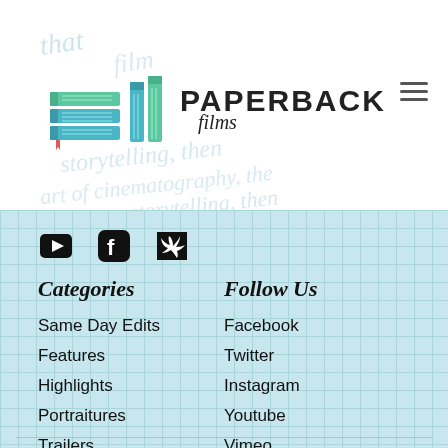[Figure (logo): Paperback Films logo with stacked books icon and handwritten 'films' text]
[Figure (infographic): Three social media icons: YouTube, Facebook, Twitter]
Categories
Follow Us
Same Day Edits
Features
Highlights
Portraitures
Trailers
Behind The Scenes
Facebook
Twitter
Instagram
Youtube
Vimeo
Contact Us